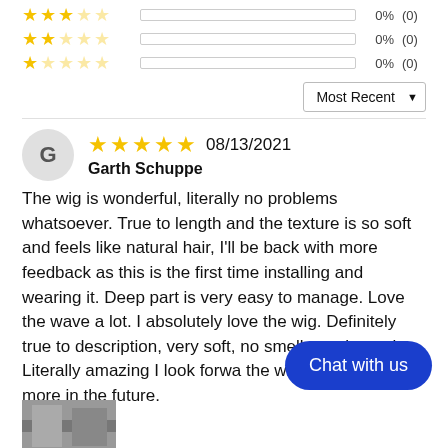[Figure (other): Star rating rows: 3-star 0% (0), 2-star 0% (0), 1-star 0% (0) with empty progress bars]
0%  (0)
0%  (0)
0%  (0)
Most Recent ▼
G  ★★★★★ 08/13/2021  Garth Schuppe
The wig is wonderful, literally no problems whatsoever. True to length and the texture is so soft and feels like natural hair, I'll be back with more feedback as this is the first time installing and wearing it. Deep part is very easy to manage. Love the wave a lot. I absolutely love the wig. Definitely true to description, very soft, no smell, no sh tangle. Literally amazing I look forwa the wig and ordering more in the future.
[Figure (photo): Thumbnail photo at bottom left, partially visible]